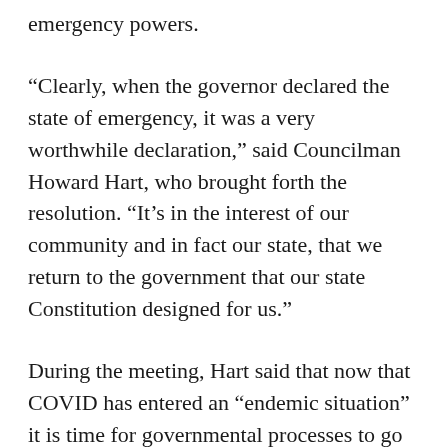emergency powers.
“Clearly, when the governor declared the state of emergency, it was a very worthwhile declaration,” said Councilman Howard Hart, who brought forth the resolution. “It’s in the interest of our community and in fact our state, that we return to the government that our state Constitution designed for us.”
During the meeting, Hart said that now that COVID has entered an “endemic situation” it is time for governmental processes to go back to normal.